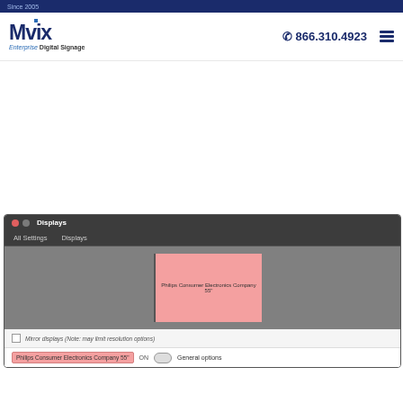Since 2005
[Figure (logo): Mvix Enterprise Digital Signage logo with phone number 866.310.4923 and hamburger menu]
[Figure (screenshot): Ubuntu Displays settings window showing Philips Consumer Electronics Company 55 inch display as a pink rectangle on gray background, with Mirror displays option and General options button]
Philips Consumer Electronics Company 55”
ON  General options